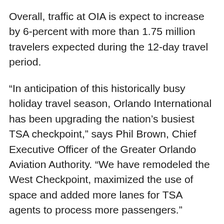Overall, traffic at OIA is expect to increase by 6-percent with more than 1.75 million travelers expected during the 12-day travel period.
“In anticipation of this historically busy holiday travel season, Orlando International has been upgrading the nation’s busiest TSA checkpoint,” says Phil Brown, Chief Executive Officer of the Greater Orlando Aviation Authority. “We have remodeled the West Checkpoint, maximized the use of space and added more lanes for TSA agents to process more passengers.”
A major winter storm approaching the Northeast could leave many travelers stuck who are trying to get home, so be sure to check your flight status.